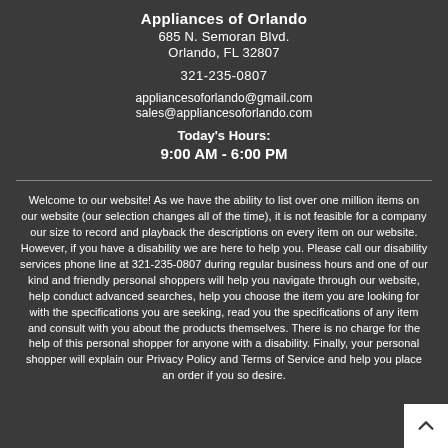Appliances of Orlando
685 N. Semoran Blvd.
Orlando, FL 32807
321-235-0807
appliancesoforlando@gmail.com
sales@appliancesoforlando.com
Today's Hours:
9:00 AM - 6:00 PM
Welcome to our website! As we have the ability to list over one million items on our website (our selection changes all of the time), it is not feasible for a company our size to record and playback the descriptions on every item on our website. However, if you have a disability we are here to help you. Please call our disability services phone line at 321-235-0807 during regular business hours and one of our kind and friendly personal shoppers will help you navigate through our website, help conduct advanced searches, help you choose the item you are looking for with the specifications you are seeking, read you the specifications of any item and consult with you about the products themselves. There is no charge for the help of this personal shopper for anyone with a disability. Finally, your personal shopper will explain our Privacy Policy and Terms of Service and help you place an order if you so desire.